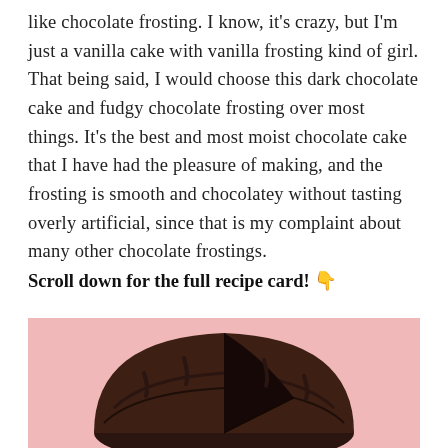like chocolate frosting. I know, it's crazy, but I'm just a vanilla cake with vanilla frosting kind of girl. That being said, I would choose this dark chocolate cake and fudgy chocolate frosting over most things. It's the best and most moist chocolate cake that I have had the pleasure of making, and the frosting is smooth and chocolatey without tasting overly artificial, since that is my complaint about many other chocolate frostings.
Scroll down for the full recipe card! 👇
[Figure (photo): A dark chocolate frosted cake on a pink background, shot from the side showing a slice cut out, with the interior visible.]